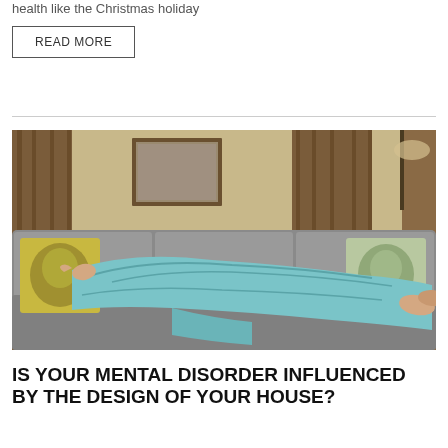health like the Christmas holiday
READ MORE
[Figure (photo): Person lying on a grey sofa covered with a light blue blanket, with decorative pillows, in a living room with wooden paneling and a painting on the wall]
IS YOUR MENTAL DISORDER INFLUENCED BY THE DESIGN OF YOUR HOUSE?